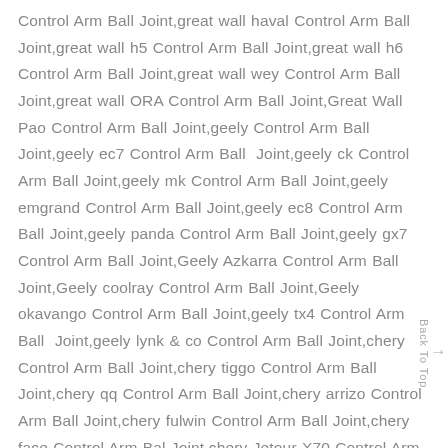Control Arm Ball Joint,great wall haval Control Arm Ball Joint,great wall h5 Control Arm Ball Joint,great wall h6 Control Arm Ball Joint,great wall wey Control Arm Ball Joint,great wall ORA Control Arm Ball Joint,Great Wall Pao Control Arm Ball Joint,geely Control Arm Ball Joint,geely ec7 Control Arm Ball Joint,geely ck Control Arm Ball Joint,geely mk Control Arm Ball Joint,geely emgrand Control Arm Ball Joint,geely ec8 Control Arm Ball Joint,geely panda Control Arm Ball Joint,geely gx7 Control Arm Ball Joint,Geely Azkarra Control Arm Ball Joint,Geely coolray Control Arm Ball Joint,Geely okavango Control Arm Ball Joint,geely tx4 Control Arm Ball Joint,geely lynk & co Control Arm Ball Joint,chery Control Arm Ball Joint,chery tiggo Control Arm Ball Joint,chery qq Control Arm Ball Joint,chery arrizo Control Arm Ball Joint,chery fulwin Control Arm Ball Joint,chery face Control Arm Ball Joint,chery Jetour X70 Control Arm Ball Joint,chery jetour Control Arm Ball Joint,dongfeng Control Arm Ball